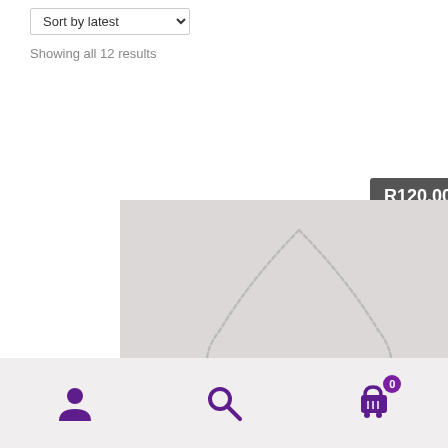Sort by latest
Showing all 12 results
[Figure (photo): A silver chain necklace with a small winged heart pendant with green detail, displayed on a light grey fabric background. Price badge showing R120.00 overlaid on the image.]
[Figure (infographic): Bottom navigation bar with three icons: person/account icon, search icon, and shopping cart icon with badge showing 0.]